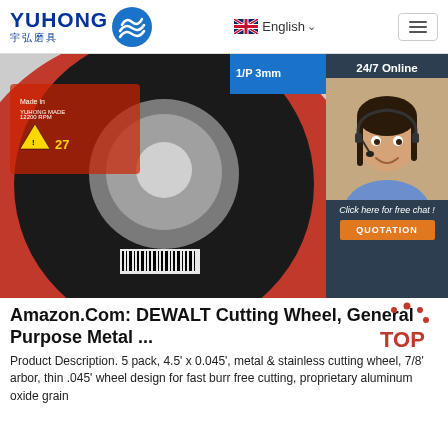[Figure (logo): YUHONG logo with Chinese characters 宇弘磨具 and blue wave icon]
[Figure (screenshot): Website header with YUHONG logo, English language selector with UK flag, and hamburger menu button]
[Figure (photo): DEWALT cutting/grinding wheel disc (red and black) with product label showing safety icons, 12200 RPM, T27. A chat widget on the right shows '24/7 Online' with a woman wearing headset and a QUOTATION button.]
Amazon.Com: DEWALT Cutting Wheel, General Purpose Metal ...
Product Description. 5 pack, 4.5' x 0.045', metal & stainless cutting wheel, 7/8' arbor, thin .045' wheel design for fast burr free cutting, proprietary aluminum oxide grain